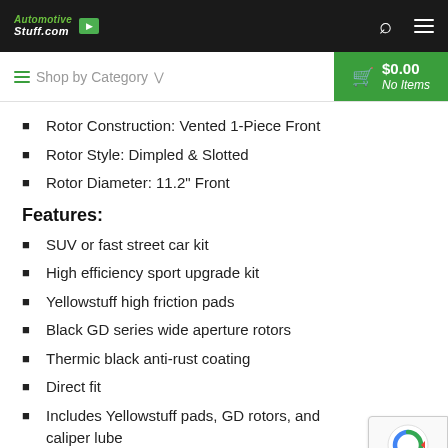AutomotiveStuff.com [logo]
Rotor Construction: Vented 1-Piece Front
Rotor Style: Dimpled & Slotted
Rotor Diameter: 11.2" Front
Features:
SUV or fast street car kit
High efficiency sport upgrade kit
Yellowstuff high friction pads
Black GD series wide aperture rotors
Thermic black anti-rust coating
Direct fit
Includes Yellowstuff pads, GD rotors, and caliper lube
EBC Brakes is considered as a worldwide leader